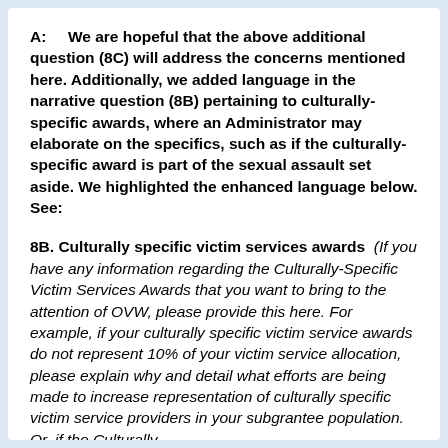A: We are hopeful that the above additional question (8C) will address the concerns mentioned here. Additionally, we added language in the narrative question (8B) pertaining to culturally-specific awards, where an Administrator may elaborate on the specifics, such as if the culturally-specific award is part of the sexual assault set aside. We highlighted the enhanced language below. See:
8B. Culturally specific victim services awards (If you have any information regarding the Culturally-Specific Victim Services Awards that you want to bring to the attention of OVW, please provide this here. For example, if your culturally specific victim service awards do not represent 10% of your victim service allocation, please explain why and detail what efforts are being made to increase representation of culturally specific victim service providers in your subgrantee population. Or, if the Culturally-